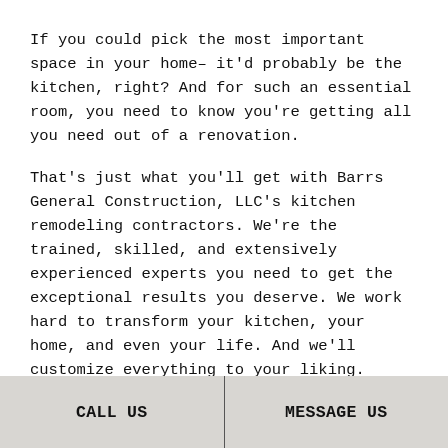If you could pick the most important space in your home– it'd probably be the kitchen, right? And for such an essential room, you need to know you're getting all you need out of a renovation.
That's just what you'll get with Barrs General Construction, LLC's kitchen remodeling contractors. We're the trained, skilled, and extensively experienced experts you need to get the exceptional results you deserve. We work hard to transform your kitchen, your home, and even your life. And we'll customize everything to your liking.
Call us now at (330) 600-0567 to inquire about our services or read on to learn all about us.
CALL US   MESSAGE US